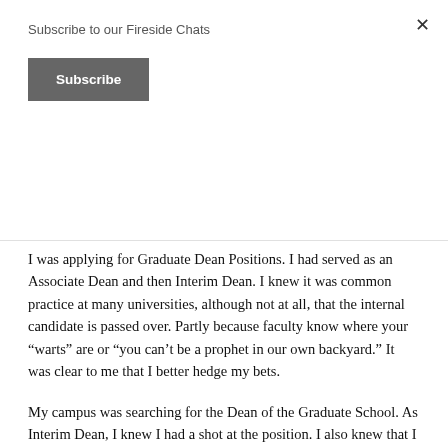Subscribe to our Fireside Chats
Subscribe
I was applying for Graduate Dean Positions. I had served as an Associate Dean and then Interim Dean. I knew it was common practice at many universities, although not at all, that the internal candidate is passed over. Partly because faculty know where your “warts” are or “you can’t be a prophet in our own backyard.”  It was clear to me that I better hedge my bets.
My campus was searching for the Dean of the Graduate School.  As Interim Dean, I knew I had a shot at the position.  I also knew that I better look for a position outside the university.  I began